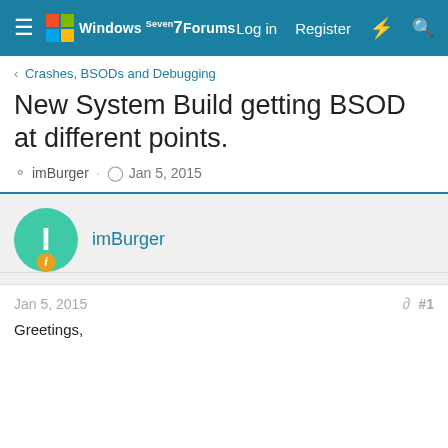Windows 7 Forums — Log in  Register
< Crashes, BSODs and Debugging
New System Build getting BSOD at different points.
imBurger · Jan 5, 2015
imBurger
Jan 5, 2015  #1
Greetings,